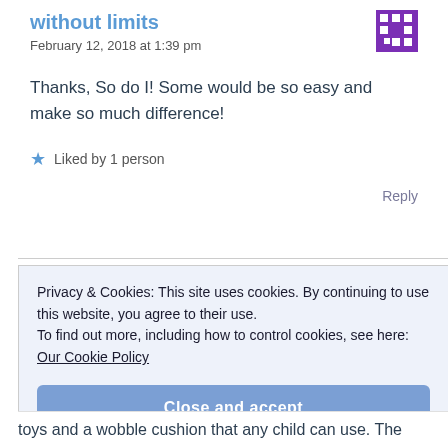without limits
February 12, 2018 at 1:39 pm
Thanks, So do I! Some would be so easy and make so much difference!
★ Liked by 1 person
Reply
Privacy & Cookies: This site uses cookies. By continuing to use this website, you agree to their use.
To find out more, including how to control cookies, see here:
Our Cookie Policy
Close and accept
toys and a wobble cushion that any child can use. The